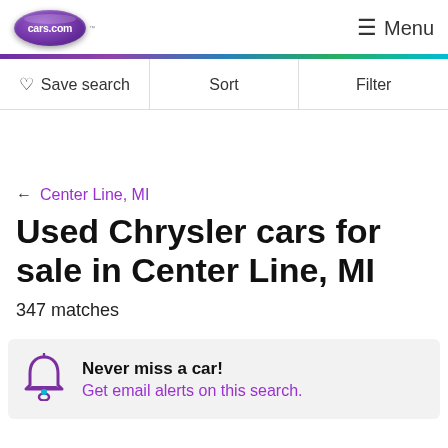[Figure (logo): cars.com logo — purple oval with white text]
Menu
Save search  Sort  Filter
← Center Line, MI
Used Chrysler cars for sale in Center Line, MI
347 matches
Never miss a car! Get email alerts on this search.